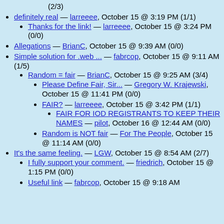definitely real — larreeee, October 15 @ 3:19 PM (1/1)
Thanks for the link! — larreeee, October 15 @ 3:24 PM (0/0)
Allegations — BrianC, October 15 @ 9:39 AM (0/0)
Simple solution for .web ... — fabrcop, October 15 @ 9:11 AM (1/5)
Random = fair — BrianC, October 15 @ 9:25 AM (3/4)
Please Define Fair, Sir... — Gregory W. Krajewski, October 15 @ 11:41 PM (0/0)
FAIR? — larreeee, October 15 @ 3:42 PM (1/1)
FAIR FOR IOD REGISTRANTS TO KEEP THEIR NAMES — pilot, October 16 @ 12:44 AM (0/0)
Random is NOT fair — For The People, October 15 @ 11:14 AM (0/0)
It's the same feeling. — LGW, October 15 @ 8:54 AM (2/7)
I fully support your comment. — friedrich, October 15 @ 1:15 PM (0/0)
Useful link — fabrcop, October 15 @ 9:18 AM